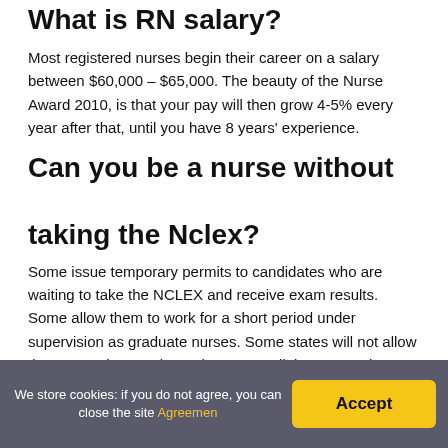What is RN salary?
Most registered nurses begin their career on a salary between $60,000 – $65,000. The beauty of the Nurse Award 2010, is that your pay will then grow 4-5% every year after that, until you have 8 years' experience.
Can you be a nurse without taking the Nclex?
Some issue temporary permits to candidates who are waiting to take the NCLEX and receive exam results. Some allow them to work for a short period under supervision as graduate nurses. Some states will not allow them to work as registered nurses until the NCLEX is passed and the RN license issued
We store cookies: if you do not agree, you can close the site Agreemen  Accept